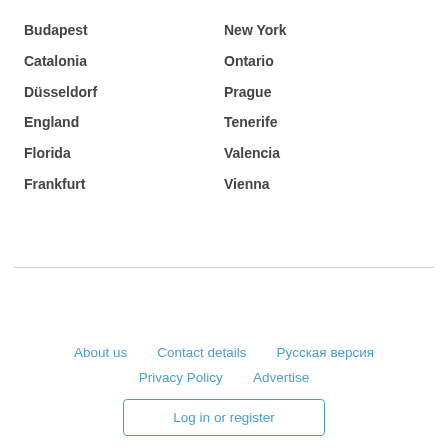Budapest
Catalonia
Düsseldorf
England
Florida
Frankfurt
New York
Ontario
Prague
Tenerife
Valencia
Vienna
About us   Contact details   Русская версия   Privacy Policy   Advertise   Log in or register